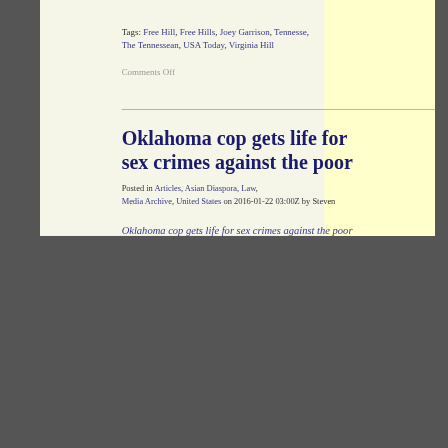Tags: Free Hill, Free Hills, Joey Garrison, Tennesse, The Tennessean, USA Today, Virginia Hill
Comments Off
Oklahoma cop gets life for sex crimes against the poor
Posted in Articles, Asian Diaspora, Law, Media Archive, United States on 2016-01-22 03:00Z by Steven
[Figure (other): QR code linking to article]
Oklahoma cop gets life for sex crimes against the poor
USA Today
2016-01-21
Melanie Eversley, Breaking News Reporter